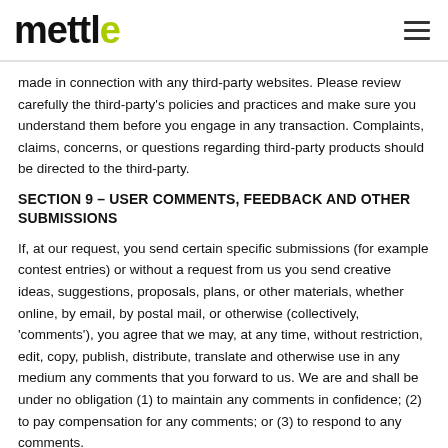mettle
made in connection with any third-party websites. Please review carefully the third-party's policies and practices and make sure you understand them before you engage in any transaction. Complaints, claims, concerns, or questions regarding third-party products should be directed to the third-party.
SECTION 9 – USER COMMENTS, FEEDBACK AND OTHER SUBMISSIONS
If, at our request, you send certain specific submissions (for example contest entries) or without a request from us you send creative ideas, suggestions, proposals, plans, or other materials, whether online, by email, by postal mail, or otherwise (collectively, 'comments'), you agree that we may, at any time, without restriction, edit, copy, publish, distribute, translate and otherwise use in any medium any comments that you forward to us. We are and shall be under no obligation (1) to maintain any comments in confidence; (2) to pay compensation for any comments; or (3) to respond to any comments.